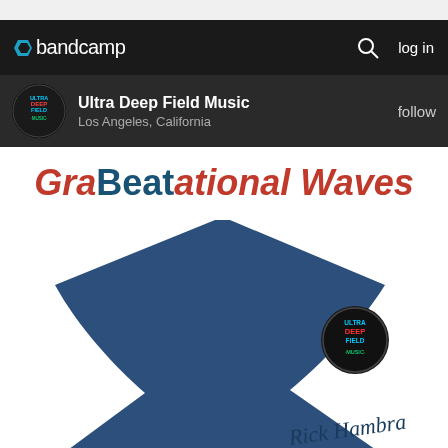bandcamp  log in
Ultra Deep Field Music
Los Angeles, California
follow
GraBeatational Waves
[Figure (illustration): Album cover art for GraBeatational Waves by Rick Hambra on Ultra Deep Field Music. Features a large dark blue abstract star/bowtie shape on white background. Bottom left shows 'Ondas GraBeatatorias' in mixed red/blue italic text. Bottom right shows 'Rick Hambra' in dark blue cursive handwriting. Upper right corner has the Ultra Deep Field Music circular logo badge.]